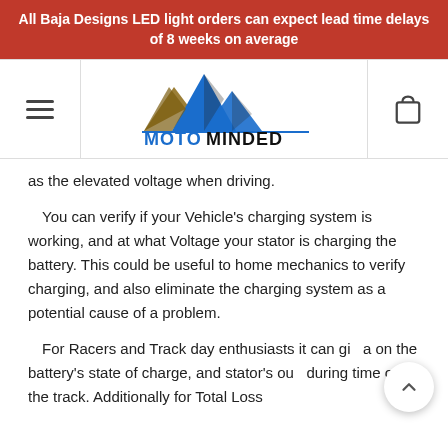All Baja Designs LED light orders can expect lead time delays of 8 weeks on average
[Figure (logo): MotoMinded logo with mountain peaks graphic in blue and black, with text MOTOMINDED below]
as the elevated voltage when driving.
You can verify if your Vehicle's charging system is working, and at what Voltage your stator is charging the battery. This could be useful to home mechanics to verify charging, and also eliminate the charging system as a potential cause of a problem.
For Racers and Track day enthusiasts it can gi a on the battery's state of charge, and stator's ou during time on the track. Additionally for Total Loss